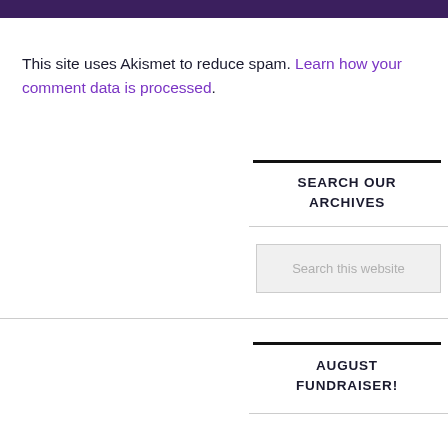This site uses Akismet to reduce spam. Learn how your comment data is processed.
SEARCH OUR ARCHIVES
[Figure (screenshot): Search input box with placeholder text 'Search this website']
AUGUST FUNDRAISER!